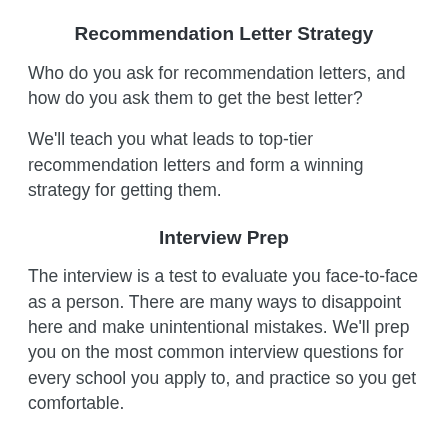Recommendation Letter Strategy
Who do you ask for recommendation letters, and how do you ask them to get the best letter?
We'll teach you what leads to top-tier recommendation letters and form a winning strategy for getting them.
Interview Prep
The interview is a test to evaluate you face-to-face as a person. There are many ways to disappoint here and make unintentional mistakes. We'll prep you on the most common interview questions for every school you apply to, and practice so you get comfortable.